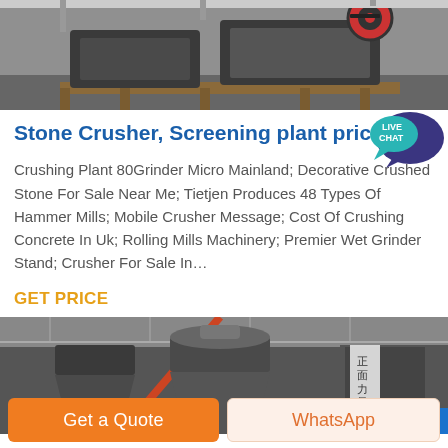[Figure (photo): Industrial stone crusher machinery in a warehouse, viewed from the side, on wooden pallets, with a red pulley visible.]
Stone Crusher, Screening plant price|Mining
[Figure (illustration): Live Chat speech bubble icon with teal/dark blue color, text 'LIVE CHAT' inside.]
Crushing Plant 80Grinder Micro Mainland; Decorative Crushed Stone For Sale Near Me; Tietjen Produces 48 Types Of Hammer Mills; Mobile Crusher Message; Cost Of Crushing Concrete In Uk; Rolling Mills Machinery; Premier Wet Grinder Stand; Crusher For Sale In…
GET PRICE
[Figure (photo): Large industrial cone crushers in a factory/warehouse, with Chinese text on a banner in the background.]
Get a Quote
WhatsApp